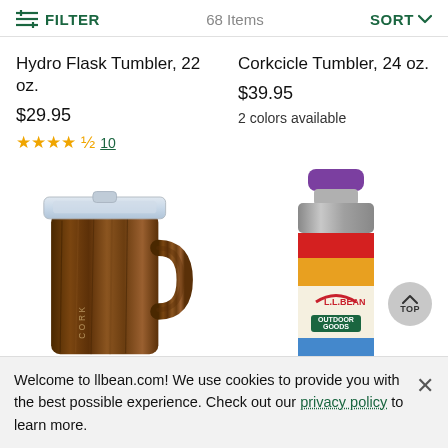FILTER   68 Items   SORT
Hydro Flask Tumbler, 22 oz.
$29.95
★★★★½ 10
Corkcicle Tumbler, 24 oz.
$39.95
2 colors available
[Figure (photo): Corkcicle wood-grain tumbler mug with handle and clear lid]
[Figure (photo): L.L.Bean Outdoor Goods rainbow-label stainless steel bottle with purple cap]
Welcome to llbean.com! We use cookies to provide you with the best possible experience. Check out our privacy policy to learn more.